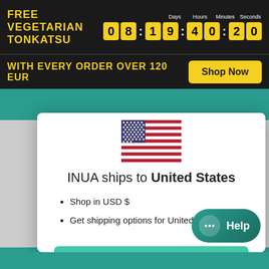FREE VEGETARIAN TONKATSU — Days 08 : Hours 19 : Minutes 40 : Seconds 20
WITH EVERY ORDER OVER 120 EUR — Shop Now
[Figure (illustration): US flag emoji/icon centered at top of modal]
INUA ships to United States
Shop in USD $
Get shipping options for United States
Shop now
Change shipping country